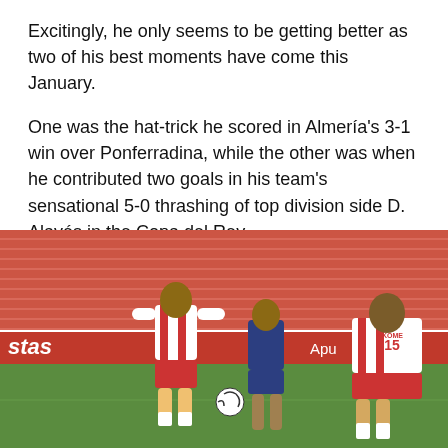Excitingly, he only seems to be getting better as two of his best moments have come this January.
One was the hat-trick he scored in Almería's 3-1 win over Ponferradina, while the other was when he contributed two goals in his team's sensational 5-0 thrashing of top division side D. Alavés in the Copa del Rey.
[Figure (photo): Football match photo showing Almería players in red and white striped kits playing on the pitch, with red stadium seats visible in the background and an advertising board. One player wearing number 15 (AKOME) is visible on the right side.]